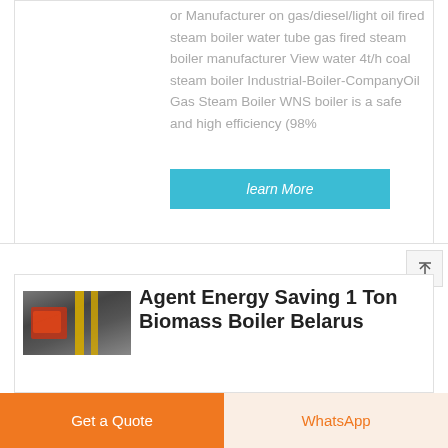or Manufacturer on gas/diesel/light oil fired steam boiler water tube gas fired steam boiler manufacturer View water 4t/h coal steam boiler Industrial-Boiler-CompanyOil Gas Steam Boiler WNS boiler is a safe and high efficiency (98%
learn More
[Figure (photo): Industrial biomass boiler with yellow vertical pipes and red glowing furnace door, in a factory setting]
Agent Energy Saving 1 Ton Biomass Boiler Belarus
Get a Quote
WhatsApp